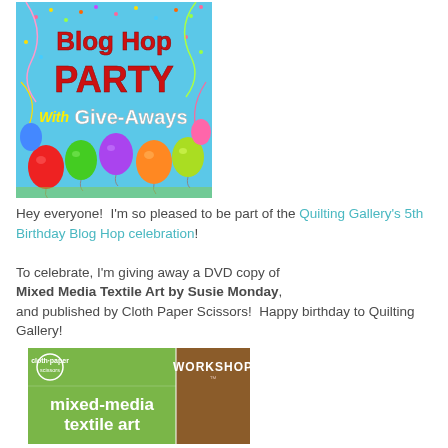[Figure (illustration): Blog Hop Party With Give-Aways banner image with colorful balloons on blue background]
Hey everyone!  I'm so pleased to be part of the Quilting Gallery's 5th Birthday Blog Hop celebration!
To celebrate, I'm giving away a DVD copy of Mixed Media Textile Art by Susie Monday, and published by Cloth Paper Scissors!  Happy birthday to Quilting Gallery!
[Figure (illustration): Cloth Paper Scissors Workshop - mixed-media textile art DVD cover image]